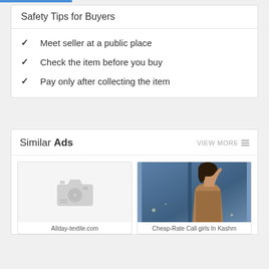Safety Tips for Buyers
Meet seller at a public place
Check the item before you buy
Pay only after collecting the item
Similar Ads
VIEW MORE
[Figure (photo): Placeholder camera icon image for an ad]
Allday-textile.com
[Figure (photo): Photo of a woman posing for an advertisement]
Cheap-Rate Call girls In Kashm